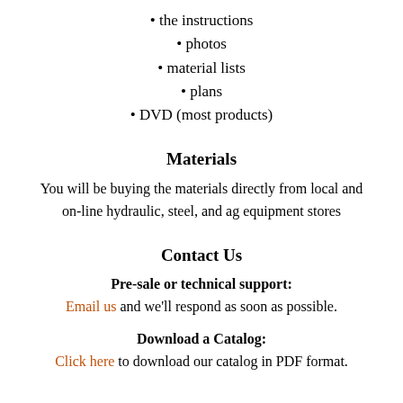• the instructions
• photos
• material lists
• plans
• DVD (most products)
Materials
You will be buying the materials directly from local and on-line hydraulic, steel, and ag equipment stores
Contact Us
Pre-sale or technical support:
Email us and we'll respond as soon as possible.
Download a Catalog:
Click here to download our catalog in PDF format.